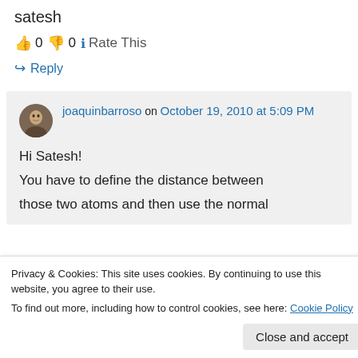satesh
👍 0 👎 0 ℹ Rate This
↪ Reply
joaquinbarroso on October 19, 2010 at 5:09 PM
Hi Satesh!
You have to define the distance between those two atoms and then use the normal
Privacy & Cookies: This site uses cookies. By continuing to use this website, you agree to their use.
To find out more, including how to control cookies, see here: Cookie Policy
Close and accept
Open the file and then save it again but